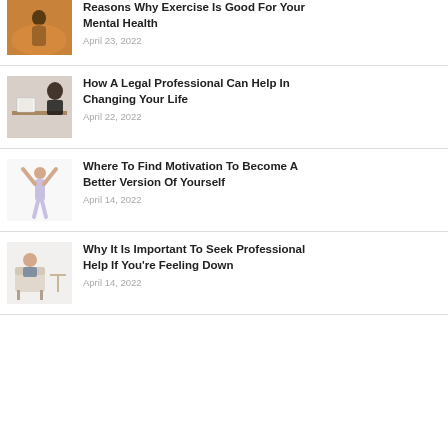[Figure (photo): Person silhouette at sunset, partial top of article image]
Reasons Why Exercise Is Good For Your Mental Health
April 23, 2022
[Figure (photo): Legal professional reading a book at a desk]
How A Legal Professional Can Help In Changing Your Life
April 22, 2022
[Figure (photo): Person raising arms in celebration outdoors]
Where To Find Motivation To Become A Better Version Of Yourself
April 14, 2022
[Figure (photo): Person sitting in chair in a living room setting]
Why It Is Important To Seek Professional Help If You're Feeling Down
April 14, 2022